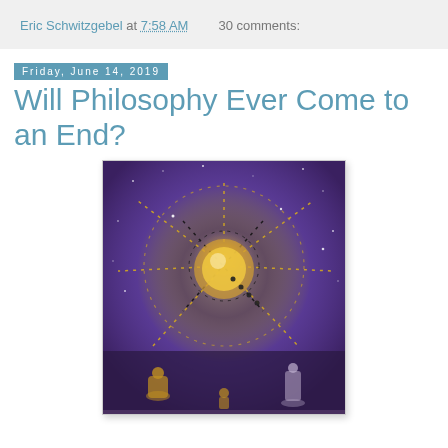Eric Schwitzgebel at 7:58 AM   30 comments:
Friday, June 14, 2019
Will Philosophy Ever Come to an End?
[Figure (illustration): Mystical cosmic illustration showing a star/web pattern made of dotted lines against a purple galaxy background, with golden human figures seated at the bottom]